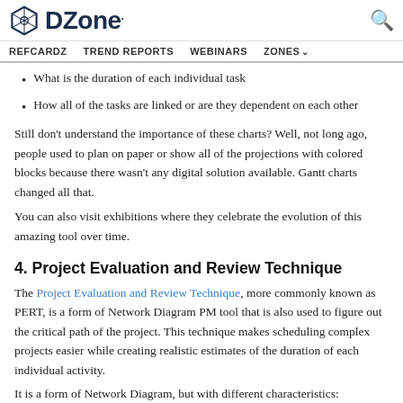DZone - REFCARDZ  TREND REPORTS  WEBINARS  ZONES
What is the duration of each individual task
How all of the tasks are linked or are they dependent on each other
Still don't understand the importance of these charts? Well, not long ago, people used to plan on paper or show all of the projections with colored blocks because there wasn't any digital solution available. Gantt charts changed all that.
You can also visit exhibitions where they celebrate the evolution of this amazing tool over time.
4. Project Evaluation and Review Technique
The Project Evaluation and Review Technique, more commonly known as PERT, is a form of Network Diagram PM tool that is also used to figure out the critical path of the project. This technique makes scheduling complex projects easier while creating realistic estimates of the duration of each individual activity.
It is a form of Network Diagram, but with different characteristics: